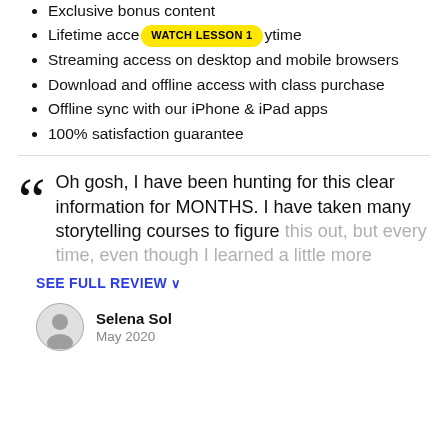Exclusive bonus content
Lifetime access, anytime
Streaming access on desktop and mobile browsers
Download and offline access with class purchase
Offline sync with our iPhone & iPad apps
100% satisfaction guarantee
Oh gosh, I have been hunting for this clear information for MONTHS. I have taken many storytelling courses to figure this out, but every time, even though I learned a little more
SEE FULL REVIEW
Selena Sol
May 2020